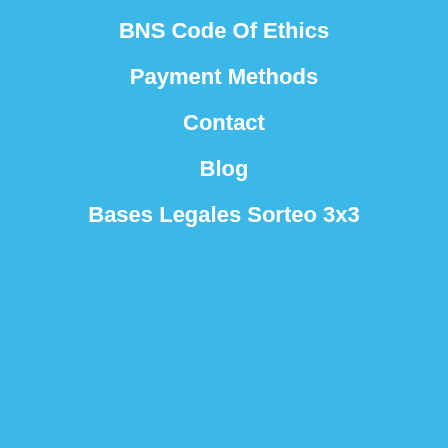BNS Code Of Ethics
Payment Methods
Contact
Blog
Bases Legales Sorteo 3x3
[Figure (logo): Payment method logos: MasterCard, VISA, PayPal, SSL]
This website uses its own and third-party cookies to improve our services and show you advertising related to your preferences by analyzing your browsing habits. To give your consent to its use, press the Accept button.
More information   Customize Cookies
© Boston Nutraceutical Science S.L.
I ACCEPT